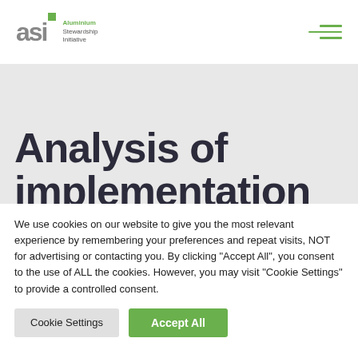[Figure (logo): ASI (Aluminium Stewardship Initiative) logo with grey 'asi' text, green square, and stacked text 'Aluminium Stewardship Initiative']
[Figure (other): Hamburger menu icon with three green horizontal lines]
Analysis of implementation
We use cookies on our website to give you the most relevant experience by remembering your preferences and repeat visits, NOT for advertising or contacting you. By clicking “Accept All”, you consent to the use of ALL the cookies. However, you may visit “Cookie Settings” to provide a controlled consent.
Cookie Settings | Accept All